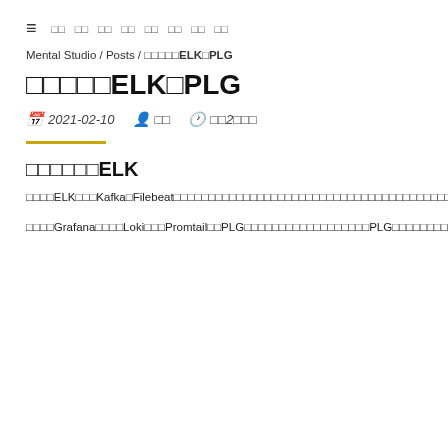≡  □□  □□  □□  □□  □□  □□  □□  □□
Mental Studio / Posts / □□□□□ELK□PLG
□□□□□ELK□PLG
2021-02-10  □□  □□2□□□
□□□□□□ELK
□□□□ELK□□□Kafka□Filebeat□□□□□□□□□□□□□□□□□□□□□□□□□□□□□□□□□□□□□grok□□□□□□□□□□□□□□□□□□□□□□□□□□□□□□□□□□□
□□□□Grafana□□□□Loki□□□Promtail□□PLG□□□□□□□□□□□□□□□□□□PLG□□□□□□□□□□□□□□□□ELK□ElasticSearch□Logstash□□JAVA□□